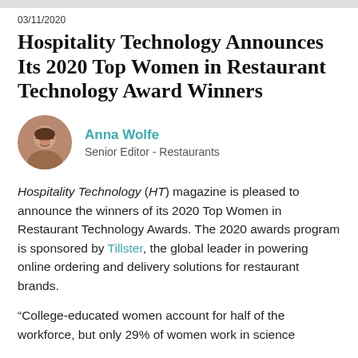03/11/2020
Hospitality Technology Announces Its 2020 Top Women in Restaurant Technology Award Winners
Anna Wolfe
Senior Editor - Restaurants
Hospitality Technology (HT) magazine is pleased to announce the winners of its 2020 Top Women in Restaurant Technology Awards. The 2020 awards program is sponsored by Tillster, the global leader in powering online ordering and delivery solutions for restaurant brands.
“College-educated women account for half of the workforce, but only 29% of women work in science